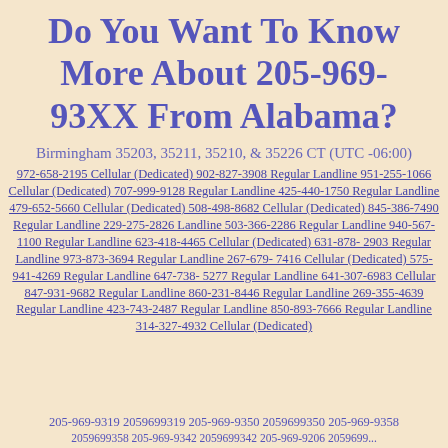Do You Want To Know More About 205-969-93XX From Alabama?
Birmingham 35203, 35211, 35210, & 35226 CT (UTC -06:00)
972-658-2195 Cellular (Dedicated) 902-827-3908 Regular Landline 951-255-1066 Cellular (Dedicated) 707-999-9128 Regular Landline 425-440-1750 Regular Landline 479-652-5660 Cellular (Dedicated) 508-498-8682 Cellular (Dedicated) 845-386-7490 Regular Landline 229-275-2826 Landline 503-366-2286 Regular Landline 940-567-1100 Regular Landline 623-418-4465 Cellular (Dedicated) 631-878-2903 Regular Landline 973-873-3694 Regular Landline 267-679-7416 Cellular (Dedicated) 575-941-4269 Regular Landline 647-738-5277 Regular Landline 641-307-6983 Cellular 847-931-9682 Regular Landline 860-231-8446 Regular Landline 269-355-4639 Regular Landline 423-743-2487 Regular Landline 850-893-7666 Regular Landline 314-327-4932 Cellular (Dedicated)
205-969-9319 2059699319 205-969-9350 2059699350 205-969-9358 2059699358 205-969-9342 2059699342 205-969-9206 2059699...